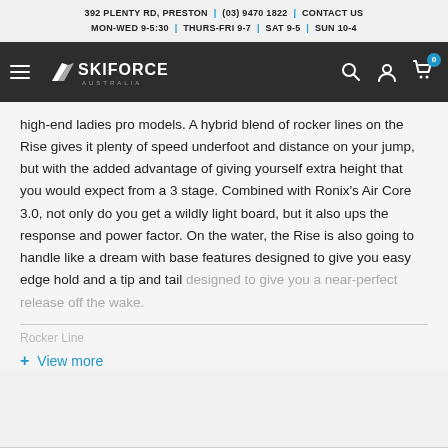392 PLENTY RD, PRESTON | (03) 9470 1822 | CONTACT US
MON-WED 9-5:30 | THURS-FRI 9-7 | SAT 9-5 | SUN 10-4
[Figure (logo): Ski Force Australia logo on dark navigation bar with hamburger menu, search, account, and cart icons]
high-end ladies pro models. A hybrid blend of rocker lines on the Rise gives it plenty of speed underfoot and distance on your jump, but with the added advantage of giving yourself extra height that you would expect from a 3 stage. Combined with Ronix's Air Core 3.0, not only do you get a wildly light board, but it also ups the response and power factor. On the water, the Rise is also going to handle like a dream with base features designed to give you easy edge hold and a tip and tail designed to give you a near-perfect release off the wake.
Rocker Line
+ View more